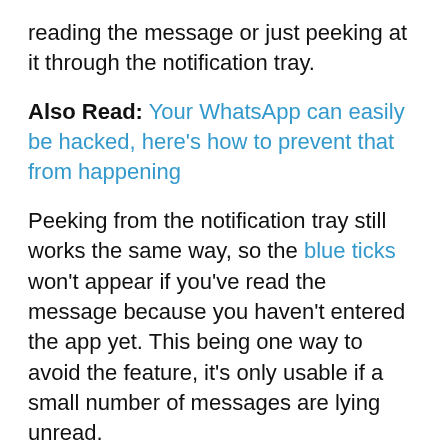reading the message or just peeking at it through the notification tray.
Also Read: Your WhatsApp can easily be hacked, here's how to prevent that from happening
Peeking from the notification tray still works the same way, so the blue ticks won't appear if you've read the message because you haven't entered the app yet. This being one way to avoid the feature, it's only usable if a small number of messages are lying unread.